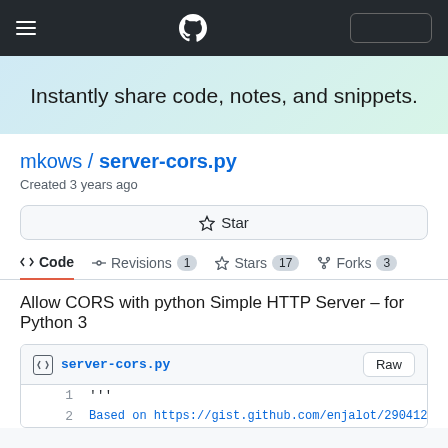GitHub Gist navigation bar with hamburger menu, GitHub logo, and search box
Instantly share code, notes, and snippets.
mkows / server-cors.py
Created 3 years ago
Star
<> Code  -O- Revisions 1  Stars 17  Forks 3
Allow CORS with python Simple HTTP Server – for Python 3
server-cors.py  Raw
1   '''
2   Based on https://gist.github.com/enjalot/2904124